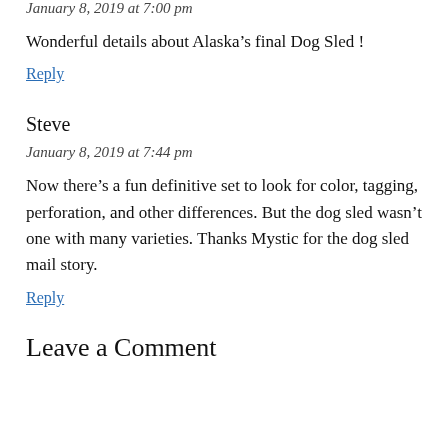January 8, 2019 at 7:00 pm
Wonderful details about Alaska’s final Dog Sled !
Reply
Steve
January 8, 2019 at 7:44 pm
Now there’s a fun definitive set to look for color, tagging, perforation, and other differences. But the dog sled wasn’t one with many varieties. Thanks Mystic for the dog sled mail story.
Reply
Leave a Comment